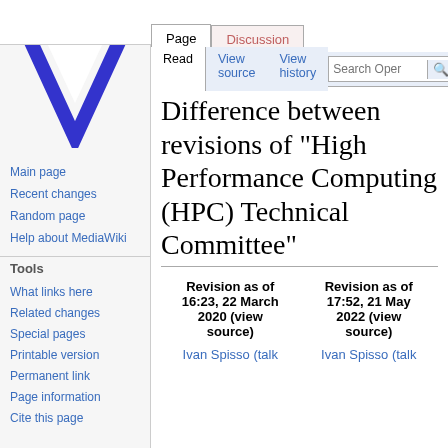Log in
[Figure (logo): Blue inverted triangle logo (OpenStreetMap/MediaWiki wiki logo)]
Main page
Recent changes
Random page
Help about MediaWiki
Tools
What links here
Related changes
Special pages
Printable version
Permanent link
Page information
Cite this page
Difference between revisions of "High Performance Computing (HPC) Technical Committee"
| Revision as of 16:23, 22 March 2020 (view source) | Revision as of 17:52, 21 May 2022 (view source) |
| --- | --- |
| Ivan Spisso (talk | Ivan Spisso (talk |